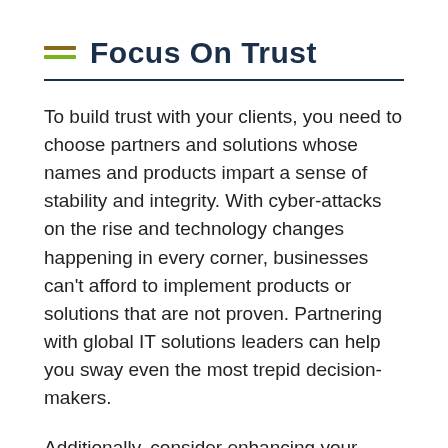Focus On Trust
To build trust with your clients, you need to choose partners and solutions whose names and products impart a sense of stability and integrity. With cyber-attacks on the rise and technology changes happening in every corner, businesses can't afford to implement products or solutions that are not proven. Partnering with global IT solutions leaders can help you sway even the most trepid decision-makers.
Additionally, consider enhancing your portfolio with cost-effective and resource-efficient IT solutions that won't push your clients to break the bank. Due to the coronavirus pandemic, most businesses are under pressure to reserve funds for their core projects. Although